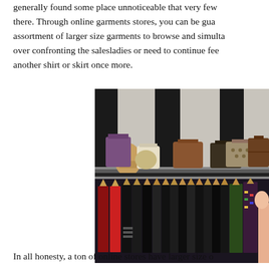generally found some place unnoticeable that very few there. Through online garments stores, you can be guaranteed assortment of larger size garments to browse and simultaneously over confronting the salesladies or need to continue feeling another shirt or skirt once more.
[Figure (photo): A clothing store interior showing a shelf with handbags and shoes on top, and a rack of hanging clothes (mostly dark/black garments) below on wooden hangers.]
In all honesty, a ton of online stores have larger size o